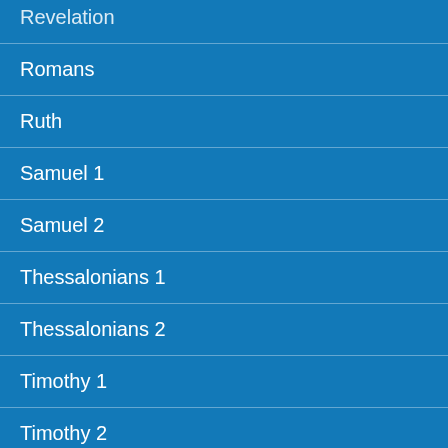Revelation
Romans
Ruth
Samuel 1
Samuel 2
Thessalonians 1
Thessalonians 2
Timothy 1
Timothy 2
Titus
APOLOGETICS